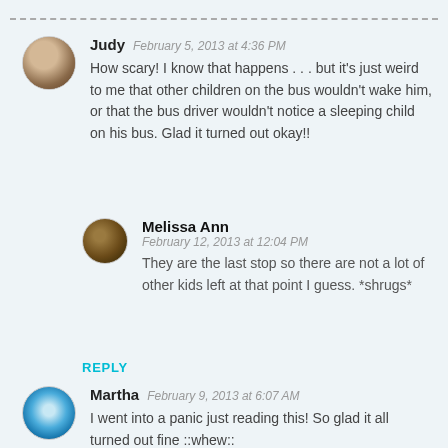Judy  February 5, 2013 at 4:36 PM
How scary! I know that happens . . . but it's just weird to me that other children on the bus wouldn't wake him, or that the bus driver wouldn't notice a sleeping child on his bus. Glad it turned out okay!!
Melissa Ann  February 12, 2013 at 12:04 PM
They are the last stop so there are not a lot of other kids left at that point I guess. *shrugs*
REPLY
Martha  February 9, 2013 at 6:07 AM
I went into a panic just reading this! So glad it all turned out fine ::whew::